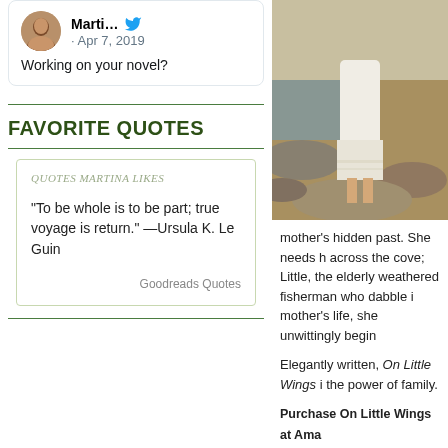[Figure (screenshot): Tweet card showing user 'Marti...' with profile photo, Twitter bird icon, date Apr 7, 2019, and text 'Working on your novel?']
FAVORITE QUOTES
QUOTES MARTINA LIKES
“To be whole is to be part; true voyage is return.” —Ursula K. Le Guin
Goodreads Quotes
[Figure (photo): Photo of a person in a white dress standing on rocky coastal shore, barefoot, lower body visible]
mother’s hidden past. She needs h... across the cove; Little, the elderly... weathered fisherman who dabble i... mother’s life, she unwittingly begin...
Elegantly written, On Little Wings i... the power of family.
Purchase On Little Wings at Ama... Purchase On Little Wings at Indi... View On Little Wings on Goodre...